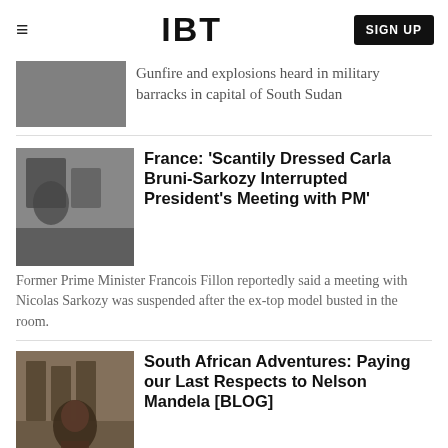IBT
Gunfire and explosions heard in military barracks in capital of South Sudan
France: ‘Scantily Dressed Carla Bruni-Sarkozy Interrupted President’s Meeting with PM’
Former Prime Minister Francois Fillon reportedly said a meeting with Nicolas Sarkozy was suspended after the ex-top model busted in the room.
South African Adventures: Paying our Last Respects to Nelson Mandela [BLOG]
Expat Cath Everett asks if the father of the nation would have been pleased by memorial service fuss and confusion?